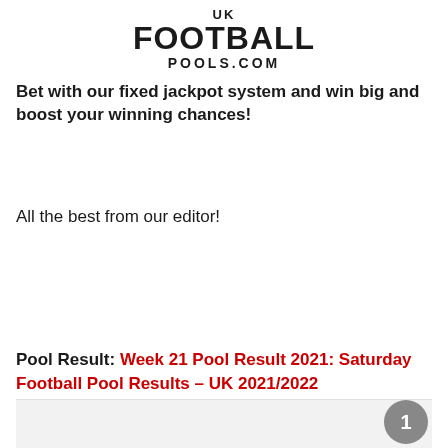[Figure (logo): UK Football Pools.com logo — stylized bold black text reading UK on top, FOOTBALL large below, then POOLS.COM]
Bet with our fixed jackpot system and win big and boost your winning chances!
All the best from our editor!
Pool Result: Week 21 Pool Result 2021: Saturday Football Pool Results – UK 2021/2022